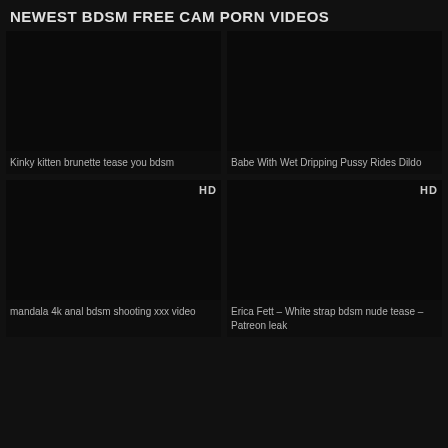NEWEST BDSM FREE CAM PORN VIDEOS
[Figure (screenshot): Dark thumbnail placeholder for video: Kinky kitten brunette tease you bdsm]
Kinky kitten brunette tease you bdsm
[Figure (screenshot): Dark thumbnail placeholder for video: Babe With Wet Dripping Pussy Rides Dildo]
Babe With Wet Dripping Pussy Rides Dildo
[Figure (screenshot): Dark thumbnail placeholder for video: mandala 4k anal bdsm shooting xxx video, HD badge]
mandala 4k anal bdsm shooting xxx video
[Figure (screenshot): Dark thumbnail placeholder for video: Erica Fett – White strap bdsm nude tease – Patreon leak, HD badge]
Erica Fett – White strap bdsm nude tease – Patreon leak